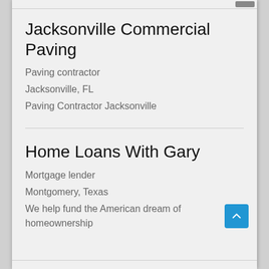Jacksonville Commercial Paving
Paving contractor
Jacksonville, FL
Paving Contractor Jacksonville
Home Loans With Gary
Mortgage lender
Montgomery, Texas
We help fund the American dream of homeownership